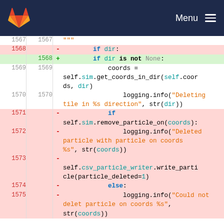GitLab | Menu
[Figure (screenshot): Code diff view showing lines 1567-1575 of a Python file with removed (red) and added (green) lines. The diff shows a change from 'if dir:' to 'if dir is not None:' and removal of conditional block with sim.remove_particle_on, logging, and csv_particle_writer calls.]